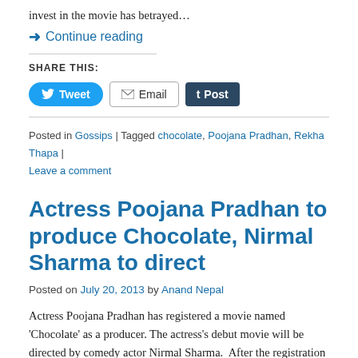invest in the movie has betrayed…
→ Continue reading
SHARE THIS:
Tweet  Email  Post
Posted in Gossips | Tagged chocolate, Poojana Pradhan, Rekha Thapa | Leave a comment
Actress Poojana Pradhan to produce Chocolate, Nirmal Sharma to direct
Posted on July 20, 2013 by Anand Nepal
Actress Poojana Pradhan has registered a movie named 'Chocolate' as a producer. The actress's debut movie will be directed by comedy actor Nirmal Sharma.  After the registration of the movie, Poojana took the photo (above) with the director Sharma and Film Development Board chairman Dharmendra Kumar Marbaita. The details of other actors have come out.